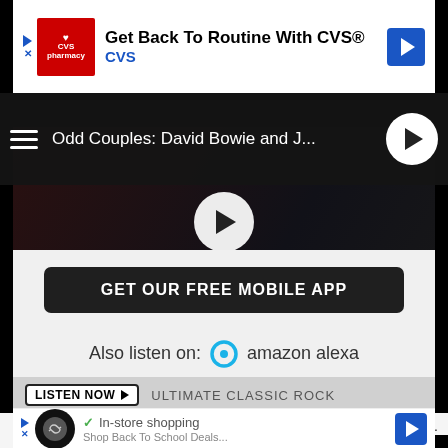[Figure (screenshot): CVS Pharmacy advertisement banner: 'Get Back To Routine With CVS® CVS']
[Figure (screenshot): Navigation bar with hamburger menu, 'Odd Couples: David Bowie and J...' title, play button circle]
[Figure (screenshot): Listen Now button bar with Ultimate Classic Rock station label]
[Figure (screenshot): Video thumbnail: ODD COUPLES: JOHN LENNON / DAVID BOWIE with play button overlay and UCR logo]
[Figure (screenshot): GET OUR FREE MOBILE APP dark button]
Also listen on: amazon alexa
The pri... period.
Read m...
[Figure (screenshot): Bottom advertisement: In-store shopping ad with infinity logo and navigation arrow]